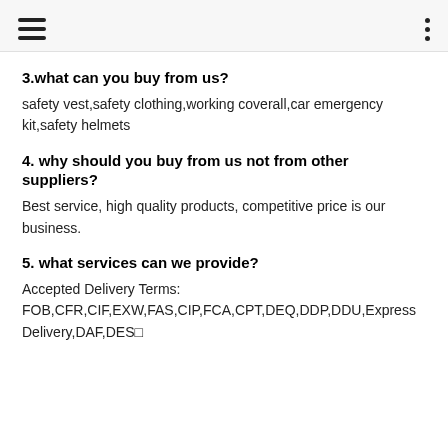3.what can you buy from us?
safety vest,safety clothing,working coverall,car emergency kit,safety helmets
4. why should you buy from us not from other suppliers?
Best service, high quality products, competitive price is our business.
5. what services can we provide?
Accepted Delivery Terms:
FOB,CFR,CIF,EXW,FAS,CIP,FCA,CPT,DEQ,DDP,DDU,Express Delivery,DAF,DES□